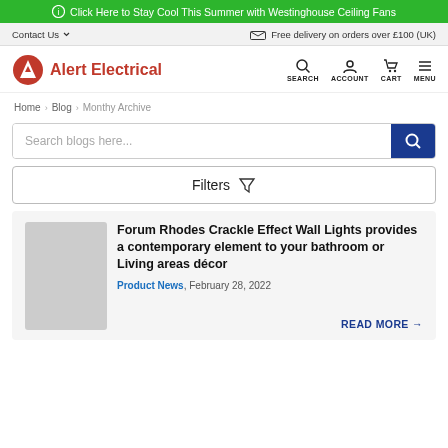Click Here to Stay Cool This Summer with Westinghouse Ceiling Fans
Contact Us   Free delivery on orders over £100 (UK)
[Figure (logo): Alert Electrical logo with red A icon and red text]
SEARCH  ACCOUNT  CART  MENU
Home › Blog › Monthy Archive
Search blogs here...
Filters
Forum Rhodes Crackle Effect Wall Lights provides a contemporary element to your bathroom or Living areas décor
Product News, February 28, 2022
READ MORE →